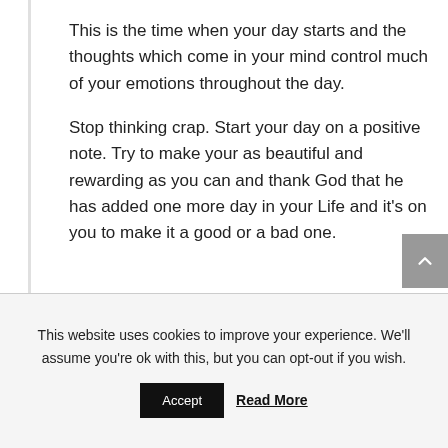This is the time when your day starts and the thoughts which come in your mind control much of your emotions throughout the day.
Stop thinking crap. Start your day on a positive note. Try to make your as beautiful and rewarding as you can and thank God that he has added one more day in your Life and it's on you to make it a good or a bad one.
This website uses cookies to improve your experience. We'll assume you're ok with this, but you can opt-out if you wish.
Accept
Read More